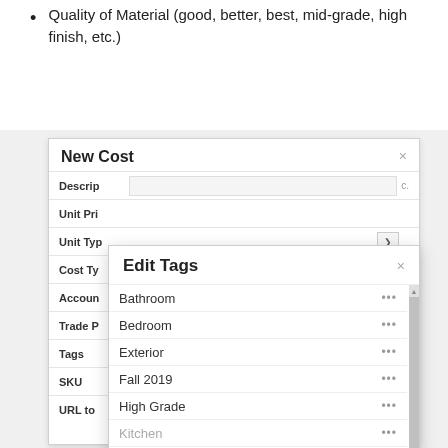Quality of Material (good, better, best, mid-grade, high finish, etc.)
[Figure (screenshot): New Cost modal dialog partially visible behind Edit Tags modal dialog. The Edit Tags modal shows a scrollable list of tags: Bathroom, Bedroom, Exterior, Fall 2019, High Grade, Kitchen, Low Grade, Mid-Grade, New Construction, Remodel, Spring 2019. Each tag row has a three-dot menu icon. A scrollbar is visible on the right side of the Edit Tags modal.]